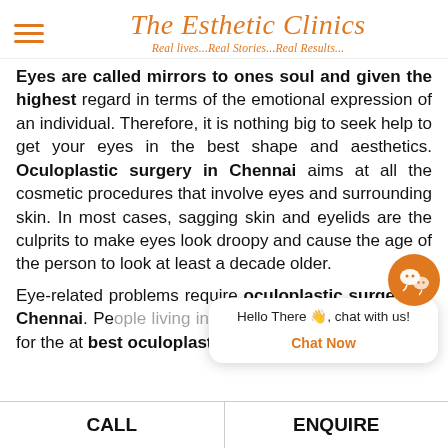The Esthetic Clinics — Real lives...Real Stories...Real Results...
Eyes are called mirrors to ones soul and given the highest regard in terms of the emotional expression of an individual. Therefore, it is nothing big to seek help to get your eyes in the best shape and aesthetics. Oculoplastic surgery in Chennai aims at all the cosmetic procedures that involve eyes and surrounding skin. In most cases, sagging skin and eyelids are the culprits to make eyes look droopy and cause the age of the person to look at least a decade older.
Eye-related problems require oculoplastic surgery in Chennai. People living in and around Chennai can opt for the at best oculoplastic surgeon
[Figure (screenshot): Chat widget popup with text 'Hello There, chat with us!' and 'Chat Now' button in orange, with WeChat icon]
CALL   ENQUIRE